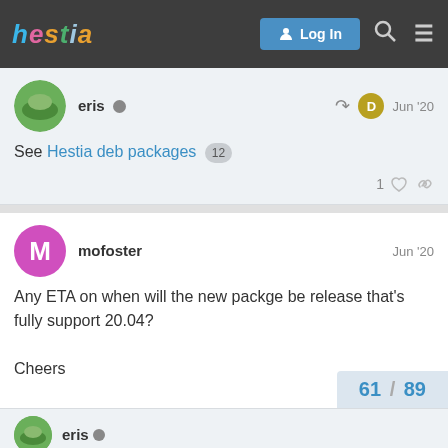hestia  Log In
eris  Jun '20
See Hestia deb packages 12
1
mofoster  Jun '20
Any ETA on when will the new packge be release that's fully support 20.04?
Cheers
61 / 89
eris